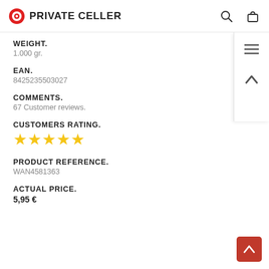PRIVATE CELLER
WEIGHT.
1.000 gr.
EAN.
8425235503027
COMMENTS.
67 Customer reviews.
CUSTOMERS RATING.
[Figure (other): Five gold star rating icons]
PRODUCT REFERENCE.
WAN4581363
ACTUAL PRICE.
5,95 €